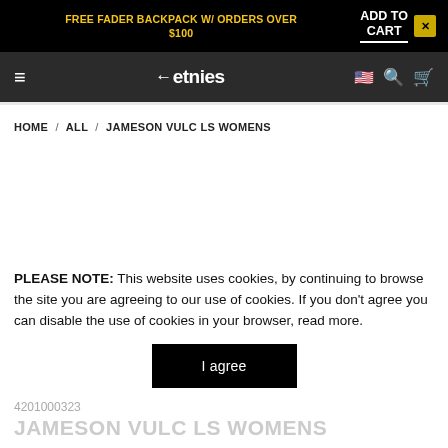FREE FADER BACKPACK W/ ORDERS OVER $100 | ADD TO CART ×
≡ ←etnies 🇺🇸 🔍 🛒
HOME / ALL / JAMESON VULC LS WOMENS
PLEASE NOTE: This website uses cookies, by continuing to browse the site you are agreeing to our use of cookies. If you don't agree you can disable the use of cookies in your browser, read more.
I agree
4201000323
JAMESON VULC LS WOMENS